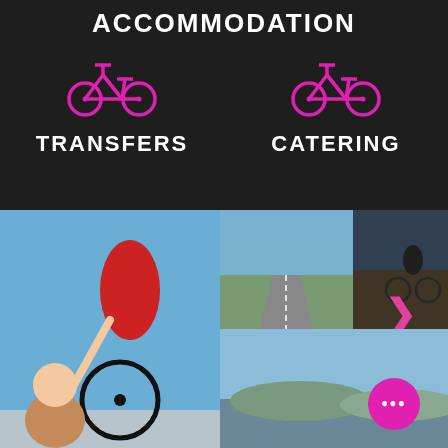ACCOMMODATION
[Figure (illustration): Pink bicycle icon for TRANSFERS service]
TRANSFERS
[Figure (illustration): Pink bicycle icon for CATERING service]
CATERING
[Figure (photo): Collage of cycling photos: cyclist in red kit being high-fived by a woman, road cycling scene, cyclist on mountain road, scenic landscape view with navigation overlay buttons and a pink FAB menu button]